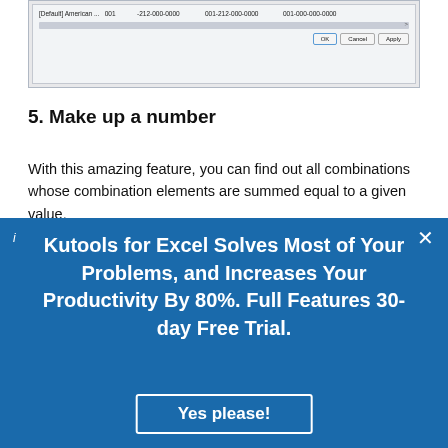[Figure (screenshot): Screenshot of a dialog box showing a table row with columns: [Default] American... 001, -212-000-0000, 001-212-000-0000, 001-000-000-0000, with a scrollbar and OK, Cancel, Apply buttons at the bottom right.]
5. Make up a number
With this amazing feature, you can find out all combinations whose combination elements are summed equal to a given value.
In addition, this feature supports to specify the number of output combinations and the
Kutools for Excel Solves Most of Your Problems, and Increases Your Productivity By 80%. Full Features 30-day Free Trial.
Yes please!